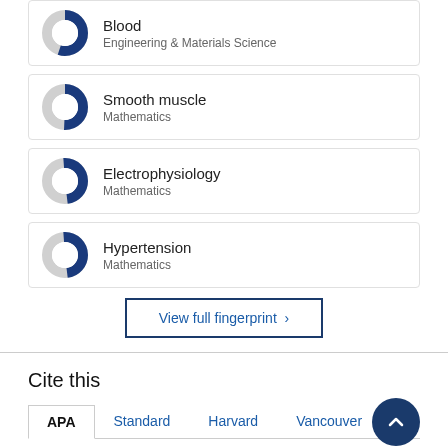[Figure (donut-chart): Donut chart icon for Blood / Engineering & Materials Science]
Blood
Engineering & Materials Science
[Figure (donut-chart): Donut chart icon for Smooth muscle / Mathematics]
Smooth muscle
Mathematics
[Figure (donut-chart): Donut chart icon for Electrophysiology / Mathematics]
Electrophysiology
Mathematics
[Figure (donut-chart): Donut chart icon for Hypertension / Mathematics]
Hypertension
Mathematics
View full fingerprint ›
Cite this
APA | Standard | Harvard | Vancouver | …